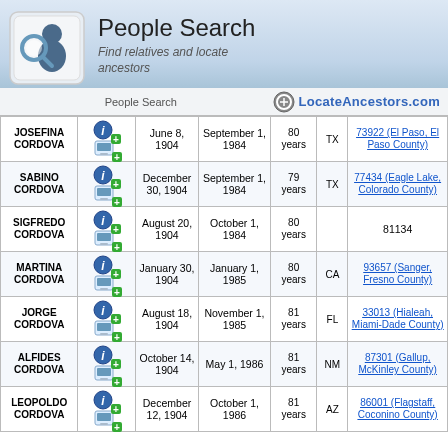[Figure (illustration): People Search header with keyboard key icon featuring a person with magnifying glass, blue gradient background]
People Search
Find relatives and locate ancestors
People Search   LocateAncestors.com
| Name |  |  | Birth | Death | Age | State | Zip/Location |
| --- | --- | --- | --- | --- | --- | --- | --- |
| JOSEFINA CORDOVA |  |  | June 8, 1904 | September 1, 1984 | 80 years | TX | 73922 (El Paso, El Paso County) |
| SABINO CORDOVA |  |  | December 30, 1904 | September 1, 1984 | 79 years | TX | 77434 (Eagle Lake, Colorado County) |
| SIGFREDO CORDOVA |  |  | August 20, 1904 | October 1, 1984 | 80 years |  | 81134 |
| MARTINA CORDOVA |  |  | January 30, 1904 | January 1, 1985 | 80 years | CA | 93657 (Sanger, Fresno County) |
| JORGE CORDOVA |  |  | August 18, 1904 | November 1, 1985 | 81 years | FL | 33013 (Hialeah, Miami-Dade County) |
| ALFIDES CORDOVA |  |  | October 14, 1904 | May 1, 1986 | 81 years | NM | 87301 (Gallup, McKinley County) |
| LEOPOLDO CORDOVA |  |  | December 12, 1904 | October 1, 1986 | 81 years | AZ | 86001 (Flagstaff, Coconino County) |